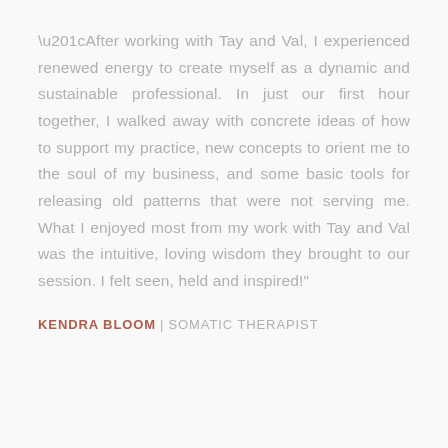“After working with Tay and Val, I experienced renewed energy to create myself as a dynamic and sustainable professional. In just our first hour together, I walked away with concrete ideas of how to support my practice, new concepts to orient me to the soul of my business, and some basic tools for releasing old patterns that were not serving me. What I enjoyed most from my work with Tay and Val was the intuitive, loving wisdom they brought to our session. I felt seen, held and inspired!”
KENDRA BLOOM | SOMATIC THERAPIST